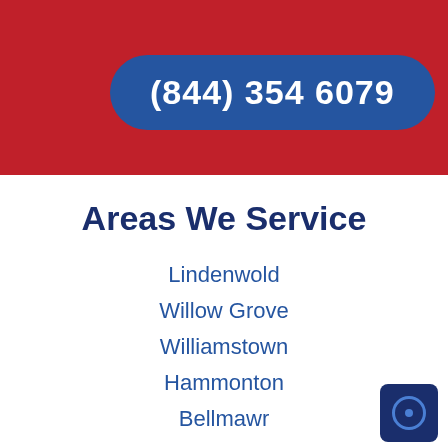(844) 354 6079
Areas We Service
Lindenwold
Willow Grove
Williamstown
Hammonton
Bellmawr
North Sunnyvale
Millville
Bridgeton
[Figure (other): Dark blue square icon with circular key/lock symbol]